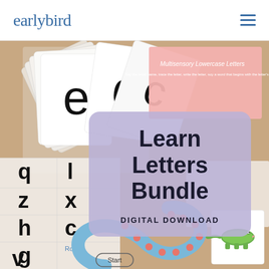earlybird
[Figure (photo): Product photo showing educational letter learning materials including flashcards with lowercase letters, a letter grid worksheet showing letters q, l, z, x, h, c, g, v, a pink 'Multisensory Lowercase Letters' worksheet, a 'Roll & ...' activity sheet, and a snake pathway game with Start label and colorful letter tiles, plus an alligator illustration card. An overlay card with lavender/purple background shows 'Learn Letters Bundle DIGITAL DOWNLOAD'.]
Learn Letters Bundle
DIGITAL DOWNLOAD